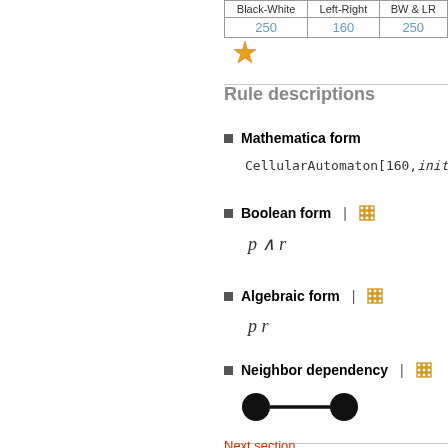| Black-White | Left-Right | BW & LR |
| --- | --- | --- |
| 250 | 160 | 250 |
[Figure (other): Orange star/sparkle emoji icon]
Rule descriptions
Mathematica form
CellularAutomaton[160,init,t]
Boolean form
Algebraic form
Neighbor dependency
[Figure (other): Two black circles connected by a horizontal line (neighbor dependency diagram)]
Next section